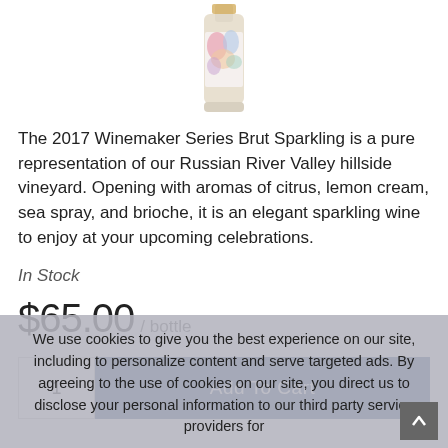[Figure (photo): Wine bottle with colorful abstract label - 2017 Winemaker Series Brut Sparkling]
The 2017 Winemaker Series Brut Sparkling is a pure representation of our Russian River Valley hillside vineyard. Opening with aromas of citrus, lemon cream, sea spray, and brioche, it is an elegant sparkling wine to enjoy at your upcoming celebrations.
In Stock
$65.00 / bottle
1
Add To Cart
We use cookies to give you the best experience on our site, including to personalize content and serve targeted ads. By agreeing to the use of cookies on our site, you direct us to disclose your personal information to our third party service providers for